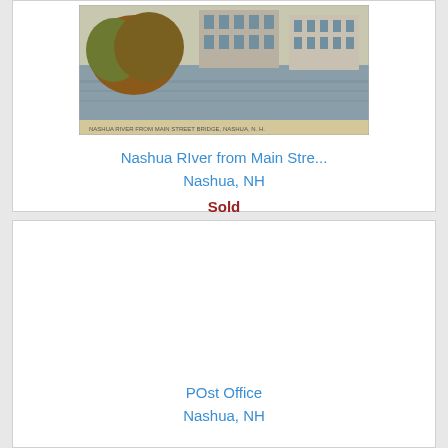[Figure (photo): Vintage postcard photograph showing Nashua River from Main Street Bridge, Nashua, NH. Shows a river with trees and buildings reflected in water.]
Nashua RIver from Main Stre...
Nashua, NH
Sold
[Figure (photo): Blank/missing postcard image for POst Office, Nashua, NH listing.]
POst Office
Nashua, NH